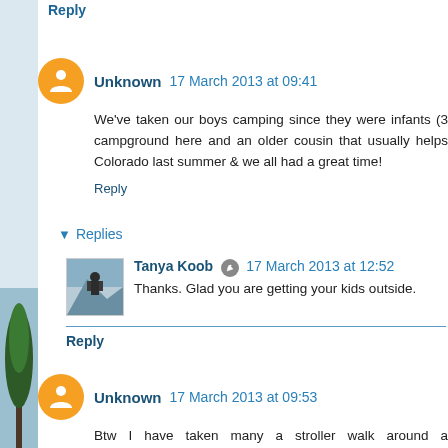Reply
Unknown  17 March 2013 at 09:41
We've taken our boys camping since they were infants (3 campground here and an older cousin that usually helps Colorado last summer & we all had a great time!
Reply
Replies
Tanya Koob  17 March 2013 at 12:52
Thanks. Glad you are getting your kids outside.
Reply
Unknown  17 March 2013 at 09:53
Btw I have taken many a stroller walk around a campground noise but chirping birds. If people don't have a screen room rain showers & for keeping acorns from falling on your kids!